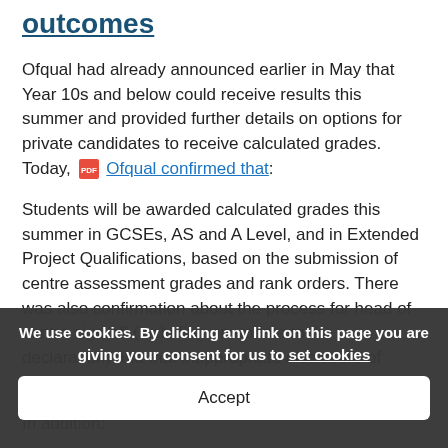outcomes
Ofqual had already announced earlier in May that Year 10s and below could receive results this summer and provided further details on options for private candidates to receive calculated grades. Today, [PDF icon] Ofqual confirmed that:
Students will be awarded calculated grades this summer in GCSEs, AS and A Level, and in Extended Project Qualifications, based on the submission of centre assessment grades and rank orders. There was also confirmation about the process for head of centre sign off (including an update to the declaration) and that inappropriate disclosure of centre assessment grades will be malpractice.
In addition:
[partially visible] assessme... been
We use cookies. By clicking any link on this page you are giving your consent for us to set cookies